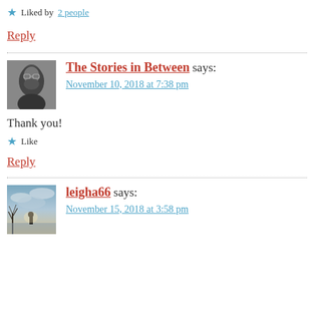Liked by 2 people
Reply
[Figure (photo): Avatar photo of The Stories in Between commenter — black and white photo of a bearded man with glasses]
The Stories in Between says:
November 10, 2018 at 7:38 pm
Thank you!
Like
Reply
[Figure (photo): Avatar photo of leigha66 commenter — atmospheric image of a silhouetted figure against a dramatic sky]
leigha66 says:
November 15, 2018 at 3:58 pm